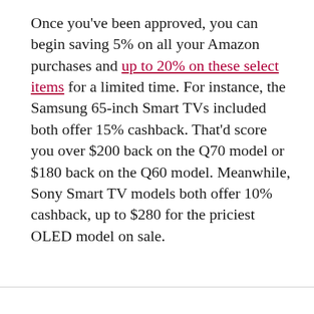Once you've been approved, you can begin saving 5% on all your Amazon purchases and up to 20% on these select items for a limited time. For instance, the Samsung 65-inch Smart TVs included both offer 15% cashback. That'd score you over $200 back on the Q70 model or $180 back on the Q60 model. Meanwhile, Sony Smart TV models both offer 10% cashback, up to $280 for the priciest OLED model on sale.